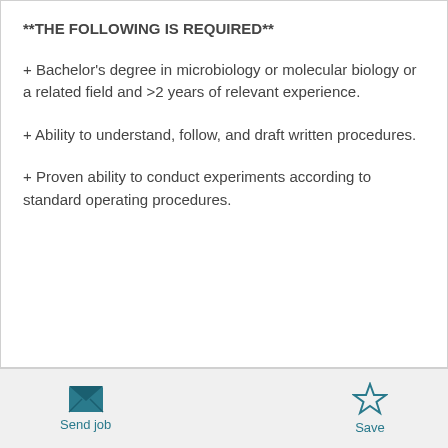**THE FOLLOWING IS REQUIRED**
+ Bachelor's degree in microbiology or molecular biology or a related field and >2 years of relevant experience.
+ Ability to understand, follow, and draft written procedures.
+ Proven ability to conduct experiments according to standard operating procedures.
Send job | Save